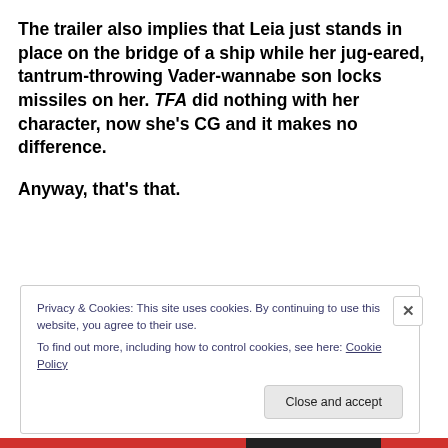The trailer also implies that Leia just stands in place on the bridge of a ship while her jug-eared, tantrum-throwing Vader-wannabe son locks missiles on her. TFA did nothing with her character, now she's CG and it makes no difference.
Anyway, that's that.
Privacy & Cookies: This site uses cookies. By continuing to use this website, you agree to their use.
To find out more, including how to control cookies, see here: Cookie Policy